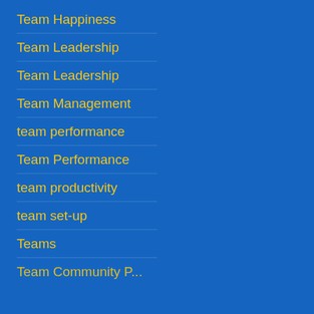Team Happiness
Team Leadership
Team Leadership
Team Management
team performance
Team Performance
team productivity
team set-up
Teams
Team Community P…